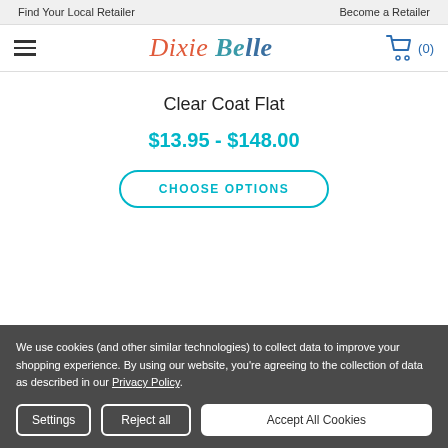Find Your Local Retailer   Become a Retailer
[Figure (logo): Dixie Belle Paint Company logo with hamburger menu and shopping cart icon showing (0) items]
Clear Coat Flat
$13.95 - $148.00
CHOOSE OPTIONS
We use cookies (and other similar technologies) to collect data to improve your shopping experience. By using our website, you're agreeing to the collection of data as described in our Privacy Policy.
Settings   Reject all   Accept All Cookies